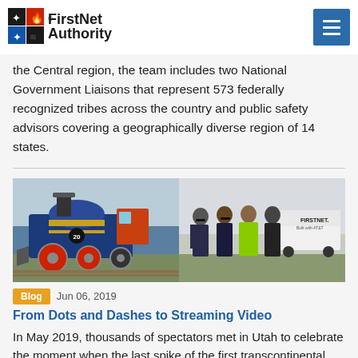FirstNet Authority
the Central region, the team includes two National Government Liaisons that represent 573 federally recognized tribes across the country and public safety advisors covering a geographically diverse region of 14 states.
[Figure (photo): Composite photo: left side shows a historic steam locomotive (blue and gold), right side shows a group of people standing outdoors in front of a FirstNet vehicle, one person wearing a hi-vis safety vest.]
Blog  Jun 06, 2019
From Dots and Dashes to Streaming Video
In May 2019, thousands of spectators met in Utah to celebrate the moment when the last spike of the first transcontinental railroad was driven into 1,800 miles of track linking East with West. FirstNet was on hand to support the event, providing the